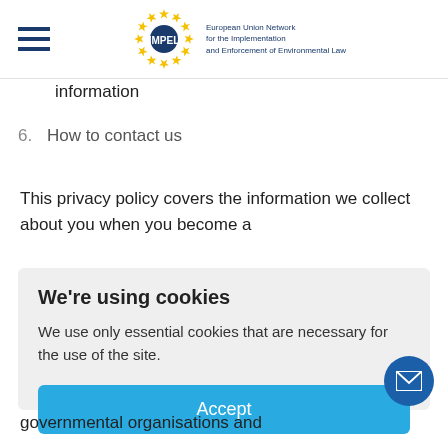[Figure (logo): IMPEL logo with EU stars circle and text: European Union Network for the Implementation and Enforcement of Environmental Law]
information
6.  How to contact us
This privacy policy covers the information we collect about you when you become a
We're using cookies
We use only essential cookies that are necessary for the use of the site.
Accept
governmental organisations and